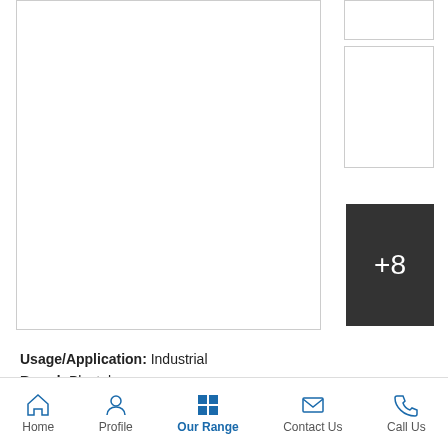[Figure (screenshot): Main product image placeholder box with border, and two thumbnail boxes plus a dark '+8' more images button on the right side]
Usage/Application: Industrial
Brand: Plastobox
Material: ABS and...more
[Figure (screenshot): Two buttons: 'Ask Latest Price' (blue background, white text) and 'Call Us' (white background, blue text, with blue icon section)]
Solar junction box
[Figure (screenshot): Solar junction box product image area showing main image box and thumbnail with border]
Home   Profile   Our Range   Contact Us   Call Us